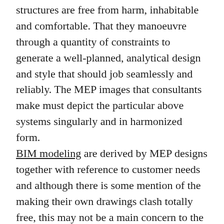structures are free from harm, inhabitable and comfortable. That they manoeuvre through a quantity of constraints to generate a well-planned, analytical design and style that should job seamlessly and reliably. The MEP images that consultants make must depict the particular above systems singularly and in harmonized form.
BIM modeling are derived by MEP designs together with reference to customer needs and although there is some mention of the making their own drawings clash totally free, this may not be a main concern to the professionals, or at minimum they have not already been historically.
BIM is changing much of this for specialists because it calls for the production of 3D models in order to